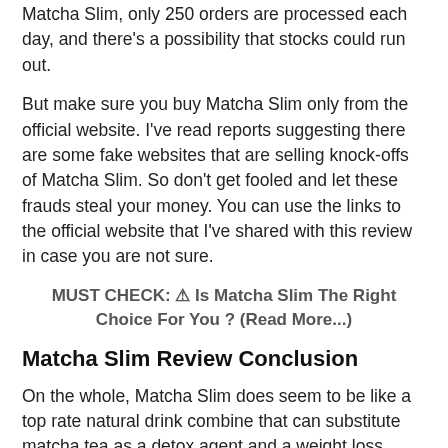Matcha Slim, only 250 orders are processed each day, and there's a possibility that stocks could run out.
But make sure you buy Matcha Slim only from the official website. I've read reports suggesting there are some fake websites that are selling knock-offs of Matcha Slim. So don't get fooled and let these frauds steal your money. You can use the links to the official website that I've shared with this review in case you are not sure.
MUST CHECK: ⚠ Is Matcha Slim The Right Choice For You ? (Read More...)
Matcha Slim Review Conclusion
On the whole, Matcha Slim does seem to be like a top rate natural drink combine that can substitute matcha tea as a detox agent and a weight loss solution. Thousands of clients appear to have misplaced vast weight after making the drink combine a habit. If you ask me, it is the best weight loss answer as it is no exclusive